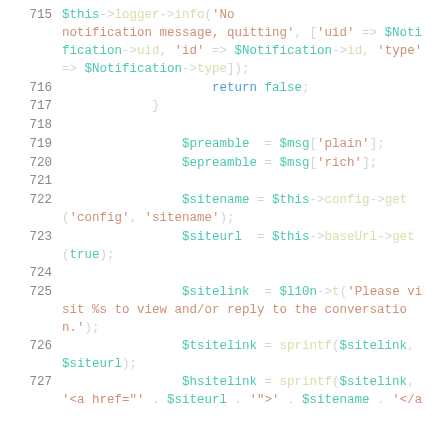715  $this->logger->info('No notification message, quitting', ['uid' => $Notification->uid, 'id' => $Notification->id, 'type' => $Notification->type]);
716      return false;
717          }
718
719              $preamble  = $msg['plain'];
720              $epreamble = $msg['rich'];
721
722              $sitename = $this->config->get('config', 'sitename');
723              $siteurl  = $this->baseUrl->get(true);
724
725              $sitelink  = $l10n->t('Please visit %s to view and/or reply to the conversation.');
726              $tsitelink = sprintf($sitelink, $siteurl);
727              $hsitelink = sprintf($sitelink, '<a href="' . $siteurl . '">' . $sitename . '</a